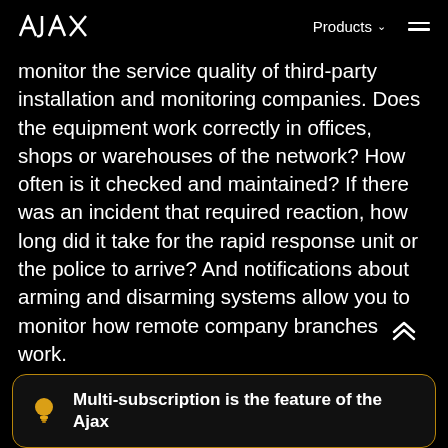AJAX  Products  ≡
monitor the service quality of third-party installation and monitoring companies. Does the equipment work correctly in offices, shops or warehouses of the network? How often is it checked and maintained? If there was an incident that required reaction, how long did it take for the rapid response unit or the police to arrive? And notifications about arming and disarming systems allow you to monitor how remote company branches work.
Multi-subscription is the feature of the Ajax